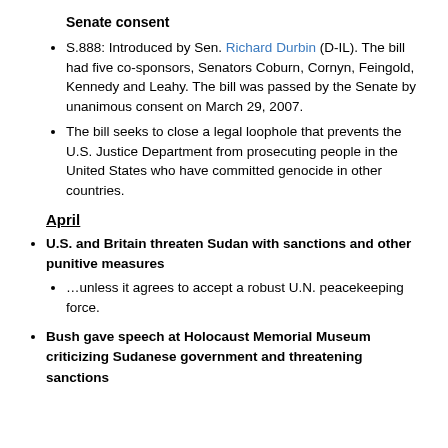Senate consent
S.888: Introduced by Sen. Richard Durbin (D-IL). The bill had five co-sponsors, Senators Coburn, Cornyn, Feingold, Kennedy and Leahy. The bill was passed by the Senate by unanimous consent on March 29, 2007.
The bill seeks to close a legal loophole that prevents the U.S. Justice Department from prosecuting people in the United States who have committed genocide in other countries.
April
U.S. and Britain threaten Sudan with sanctions and other punitive measures
…unless it agrees to accept a robust U.N. peacekeeping force.
Bush gave speech at Holocaust Memorial Museum criticizing Sudanese government and threatening sanctions